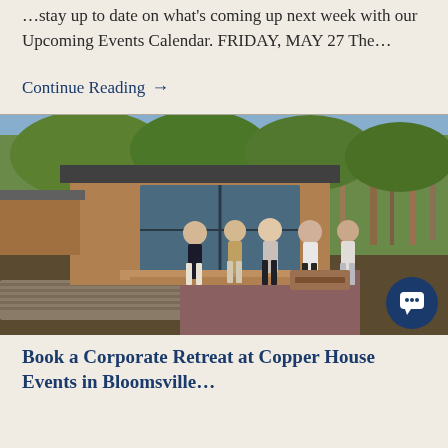…stay up to date on what's coming up next week with our Upcoming Events Calendar. FRIDAY, MAY 27 The…
Continue Reading →
[Figure (photo): Group of people socializing outdoors in front of a modern wood and glass building, surrounded by trees and stone landscaping on a sunny spring day.]
Book a Corporate Retreat at Copper House Events in Bloomsville…